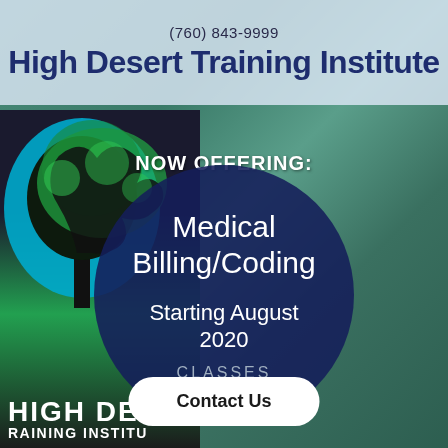(760) 843-9999
High Desert Training Institute
[Figure (infographic): Promotional flyer with background photo of medical professional in green scrubs writing on clipboard, High Desert Training Institute logo with blue/green tree on left side, dark navy circle overlay in center with course information]
NOW OFFERING:
Medical Billing/Coding
Starting August 2020
CLASSES
Contact Us
HIGH DE RAINING INSTITU